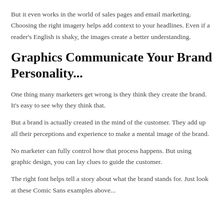But it even works in the world of sales pages and email marketing. Choosing the right imagery helps add context to your headlines. Even if a reader's English is shaky, the images create a better understanding.
Graphics Communicate Your Brand Personality...
One thing many marketers get wrong is they think they create the brand. It's easy to see why they think that.
But a brand is actually created in the mind of the customer. They add up all their perceptions and experience to make a mental image of the brand.
No marketer can fully control how that process happens. But using graphic design, you can lay clues to guide the customer.
The right font helps tell a story about what the brand stands for. Just look at these Comic Sans examples above...